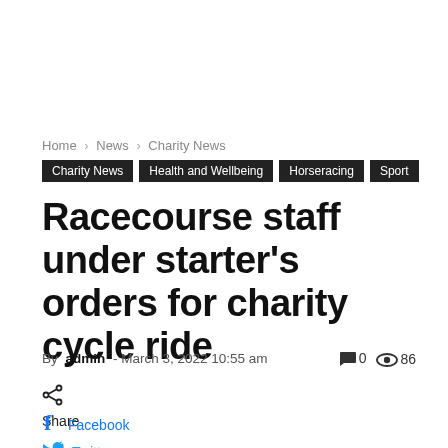Home › News › Charity News
Charity News  Health and Wellbeing  Horseracing  Sport
Racecourse staff under starter's orders for charity cycle ride
By admin - March 3, 2022 10:55 am  0  86
Share
Facebook
Twitter